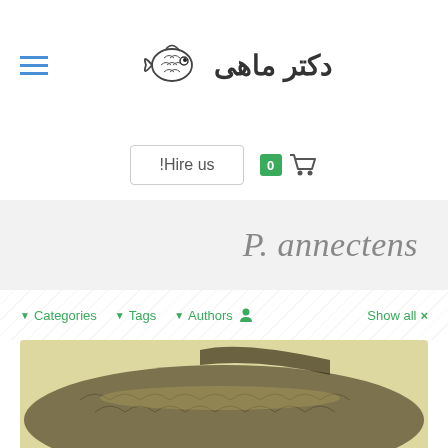[Figure (logo): Fish logo icon (decorative sketch of a fish with scales and eye)]
دکتر ماهی
!Hire us
[Figure (infographic): Shopping cart icon with green badge showing 0]
P. annectens
▼ Categories  ▼ Tags  ▼ Authors 👤  Show all ×
[Figure (photo): Close-up photo of a fish with visible scales, on a yellowish background]